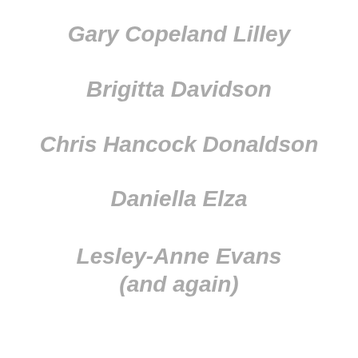Gary Copeland Lilley
Brigitta Davidson
Chris Hancock Donaldson
Daniella Elza
Lesley-Anne Evans
(and again)